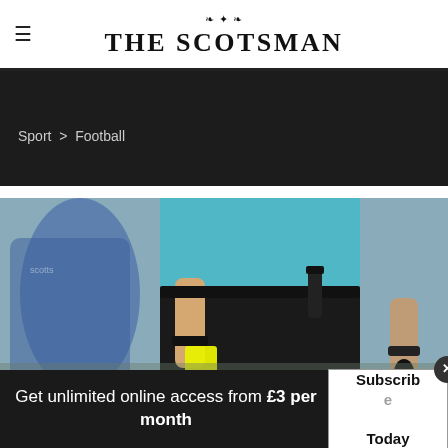THE SCOTSMAN
Sport > Football
[Figure (photo): Close-up of a football referee in a light blue shirt holding a yellow card, with a player in blue visible in the background.]
Get unlimited online access from £3 per month
Subscribe Today